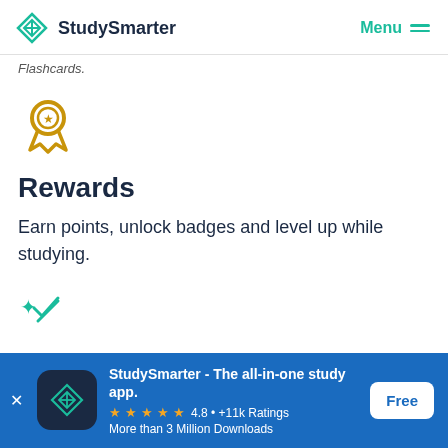StudySmarter | Menu
Flashcards.
[Figure (illustration): Gold/yellow award ribbon/medal icon]
Rewards
Earn points, unlock badges and level up while studying.
[Figure (illustration): Teal/green sparkle and checkmark/pencil icon]
StudySmarter - The all-in-one study app.
4.8 • +11k Ratings
More than 3 Million Downloads
Free